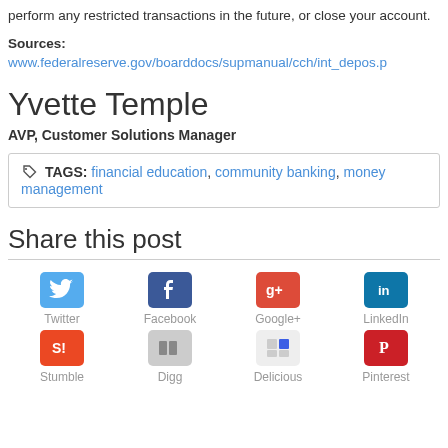perform any restricted transactions in the future, or close your account.
Sources:
www.federalreserve.gov/boarddocs/supmanual/cch/int_depos.p
Yvette Temple
AVP, Customer Solutions Manager
TAGS: financial education, community banking, money management
Share this post
[Figure (infographic): Social sharing icons in two rows: Twitter, Facebook, Google+, LinkedIn (top row); Stumble, Digg, Delicious, Pinterest (bottom row)]